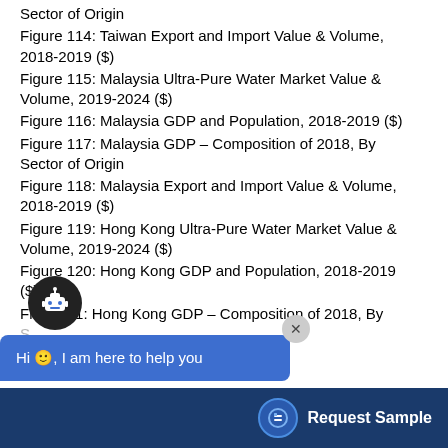Sector of Origin
Figure 114: Taiwan Export and Import Value & Volume, 2018-2019 ($)
Figure 115: Malaysia Ultra-Pure Water Market Value & Volume, 2019-2024 ($)
Figure 116: Malaysia GDP and Population, 2018-2019 ($)
Figure 117: Malaysia GDP – Composition of 2018, By Sector of Origin
Figure 118: Malaysia Export and Import Value & Volume, 2018-2019 ($)
Figure 119: Hong Kong Ultra-Pure Water Market Value & Volume, 2019-2024 ($)
Figure 120: Hong Kong GDP and Population, 2018-2019 ($)
Figure 121: Hong Kong GDP – Composition of 2018, By Sector of Origin